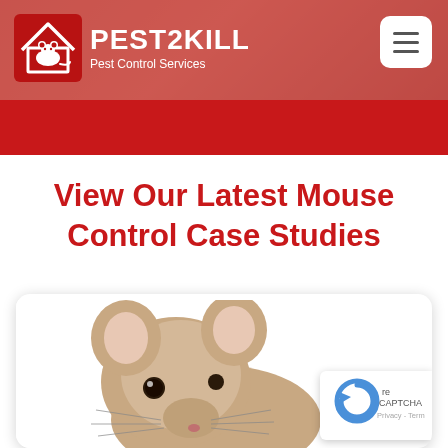[Figure (logo): Pest2Kill logo with white rat silhouette in red house icon, company name PEST2KILL and tagline Pest Control Services]
[Figure (photo): Hamburger menu button, white rounded square with three horizontal lines]
View Our Latest Mouse Control Case Studies
[Figure (photo): Close-up photo of a brown house mouse facing forward against white background, inside a card with rounded corners]
[Figure (other): Google reCAPTCHA badge with circular arrow icon and Privacy - Terms text]